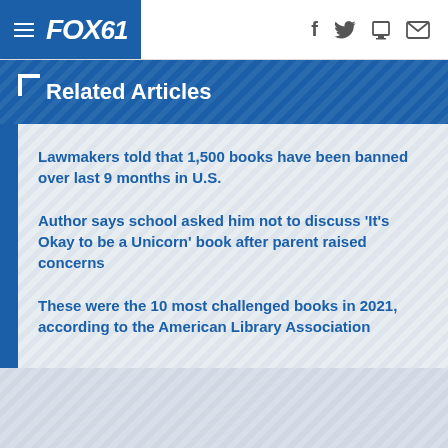FOX61
Related Articles
Lawmakers told that 1,500 books have been banned over last 9 months in U.S.
Author says school asked him not to discuss 'It's Okay to be a Unicorn' book after parent raised concerns
These were the 10 most challenged books in 2021, according to the American Library Association